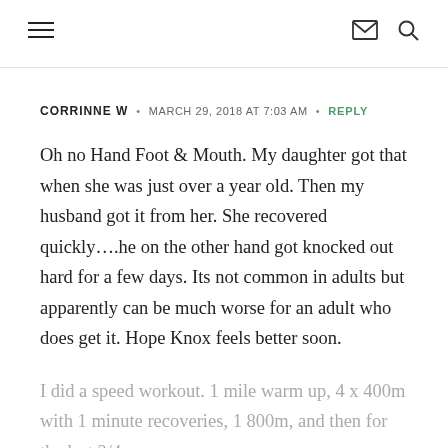Navigation header with hamburger menu, mail icon, and search icon
CORRINNE W · MARCH 29, 2018 AT 7:03 AM · REPLY
Oh no Hand Foot & Mouth. My daughter got that when she was just over a year old. Then my husband got it from her. She recovered quickly….he on the other hand got knocked out hard for a few days. Its not common in adults but apparently can be much worse for an adult who does get it. Hope Knox feels better soon.
I did a speed workout. 1 mile warm up, 4 x 400m with 1 minute recoveries, 1 800m, and then for the last 3/4